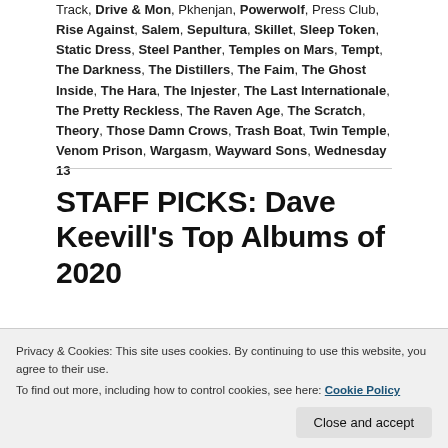Track, Drive & Mon, Pkhenjan, Powerwolf, Press Club, Rise Against, Salem, Sepultura, Skillet, Sleep Token, Static Dress, Steel Panther, Temples on Mars, Tempt, The Darkness, The Distillers, The Faim, The Ghost Inside, The Hara, The Injester, The Last Internationale, The Pretty Reckless, The Raven Age, The Scratch, Theory, Those Damn Crows, Trash Boat, Twin Temple, Venom Prison, Wargasm, Wayward Sons, Wednesday 13
STAFF PICKS: Dave Keevill's Top Albums of 2020
Privacy & Cookies: This site uses cookies. By continuing to use this website, you agree to their use.
To find out more, including how to control cookies, see here: Cookie Policy